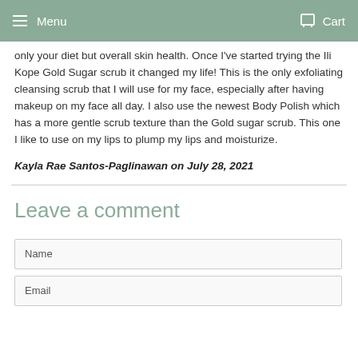Menu | Cart
only your diet but overall skin health. Once I've started trying the Ili Kope Gold Sugar scrub it changed my life! This is the only exfoliating cleansing scrub that I will use for my face, especially after having makeup on my face all day. I also use the newest Body Polish which has a more gentle scrub texture than the Gold sugar scrub. This one I like to use on my lips to plump my lips and moisturize.
Kayla Rae Santos-Paglinawan on July 28, 2021
Leave a comment
Name
Email